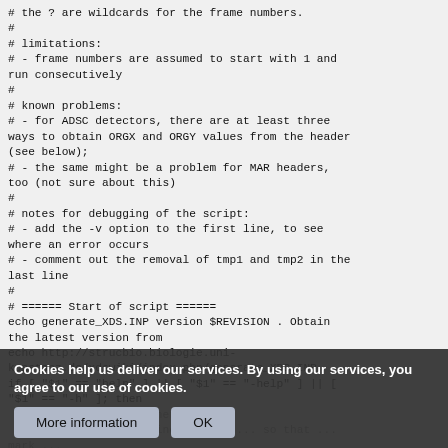# the ? are wildcards for the frame numbers.
#
# limitations:
# - frame numbers are assumed to start with 1 and run consecutively
#
# known problems:
# - for ADSC detectors, there are at least three ways to obtain ORGX and ORGY values from the header (see below);
# - the same might be a problem for MAR headers, too (not sure about this)
#
# notes for debugging of the script:
# - add the -v option to the first line, to see where an error occurs
# - comment out the removal of tmp1 and tmp2 in the last line
#
# ====== Start of script ======
echo generate_XDS.INP version $REVISION . Obtain the latest version from
echo http://strucbio.biologie.uni-konstanz.de/xdswiki/index.php/generate_XDS.INP
if [ "$1" == "help" ] || [ "$1" == "-help" ] || [ "$1" == "-h" ]; then
    echo usage: xds_generate_all
    echo if the f...ss with bzip2, leave out the .b...
    exit
Cookies help us deliver our services. By using our services, you agree to our use of cookies.
More information   OK